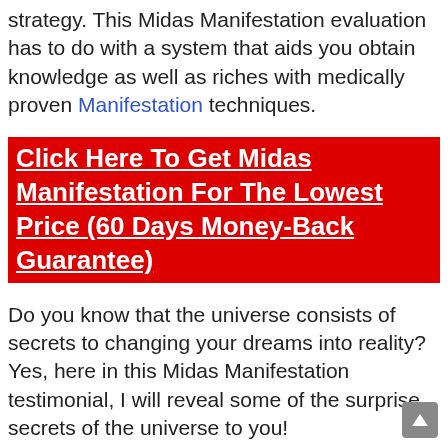strategy. This Midas Manifestation evaluation has to do with a system that aids you obtain knowledge as well as riches with medically proven Manifestation techniques.
Click Here To Get Midas Manifestation For The Lowest Price (60 Days Money-Back Guarantee)
Do you know that the universe consists of secrets to changing your dreams into reality? Yes, here in this Midas Manifestation testimonial, I will reveal some of the surprise secrets of the universe to you!
If you think it or not, deep space has actually obtained a treasure of knowledge that can assist materialize individue's wishes. One will not have to function 24 * 7 to obtain success